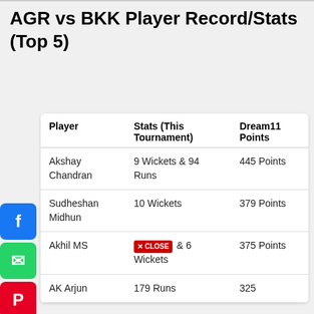AGR vs BKK Player Record/Stats (Top 5)
| Player | Stats (This Tournament) | Dream11 Points |
| --- | --- | --- |
| Akshay Chandran | 9 Wickets & 94 Runs | 445 Points |
| Sudheshan Midhun | 10 Wickets | 379 Points |
| Akhil MS | 111 Runs & 6 Wickets | 375 Points |
| AK Arjun | 179 Runs | 325 |